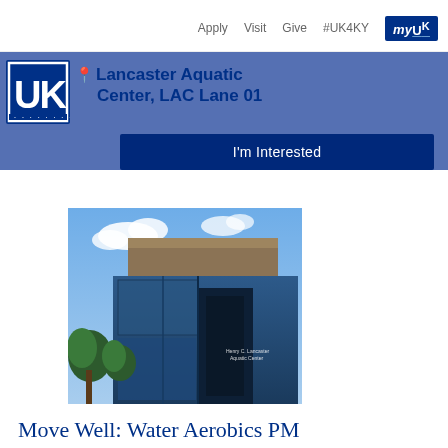Apply   Visit   Give   #UK4KY   myUK
Lancaster Aquatic Center, LAC Lane 01
I'm Interested
[Figure (photo): Exterior photo of the Lancaster Aquatic Center building — a modern blue-glass structure with stone accents, blue sky with clouds, and trees in front. Building sign reads 'Henry C. Lancaster Aquatic Center'.]
Move Well: Water Aerobics PM